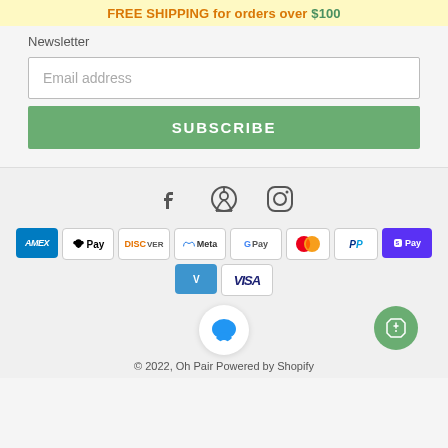FREE SHIPPING for orders over $100
Newsletter
Email address
SUBSCRIBE
[Figure (infographic): Social media icons: Facebook, Pinterest, Instagram]
[Figure (infographic): Payment method badges: Amex, Apple Pay, Discover, Meta Pay, Google Pay, Mastercard, PayPal, Shop Pay, Venmo, Visa]
© 2022, Oh Pair Powered by Shopify